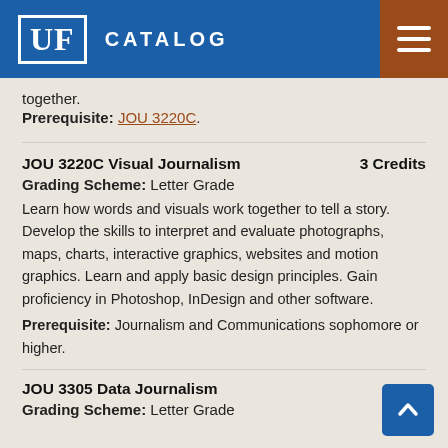UF CATALOG
together.
Prerequisite: JOU 3220C.
JOU 3220C Visual Journalism  3 Credits
Grading Scheme: Letter Grade
Learn how words and visuals work together to tell a story. Develop the skills to interpret and evaluate photographs, maps, charts, interactive graphics, websites and motion graphics. Learn and apply basic design principles. Gain proficiency in Photoshop, InDesign and other software.
Prerequisite: Journalism and Communications sophomore or higher.
JOU 3305 Data Journalism  3 C
Grading Scheme: Letter Grade